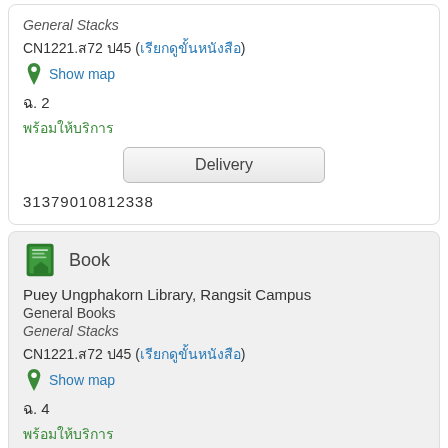General Stacks
CN1221.ส72 ป45 (เรียกดูขั้นหนังสือ)
Show map
ฉ. 2
พร้อมให้บริการ
Delivery
31379010812338
Book
Puey Ungphakorn Library, Rangsit Campus
General Books
General Stacks
CN1221.ส72 ป45 (เรียกดูขั้นหนังสือ)
Show map
ฉ. 4
พร้อมให้บริการ